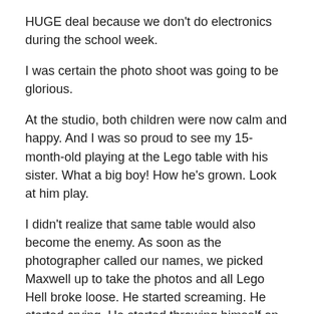HUGE deal because we don't do electronics during the school week.
I was certain the photo shoot was going to be glorious.
At the studio, both children were now calm and happy.  And I was so proud to see my 15-month-old playing at the Lego table with his sister.  What a big boy!  How he's grown.  Look at him play.
I didn't realize that same table would also become the enemy.  As soon as the photographer called our names, we picked Maxwell up to take the photos and all Lego Hell broke loose.  He started screaming.  He started crying.  He started throwing himself on the floor.
We tried bribing him with Legos on the floor.  Adelyne and I could do the posing.  But no…